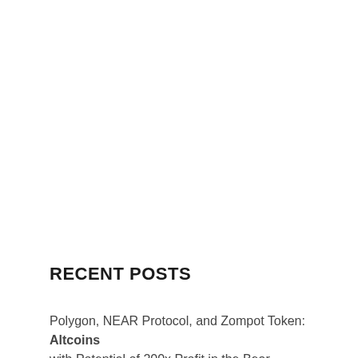Search...
RECENT POSTS
Polygon, NEAR Protocol, and Zompot Token: Altcoins with Potential of 200x Profit in the Bear Market